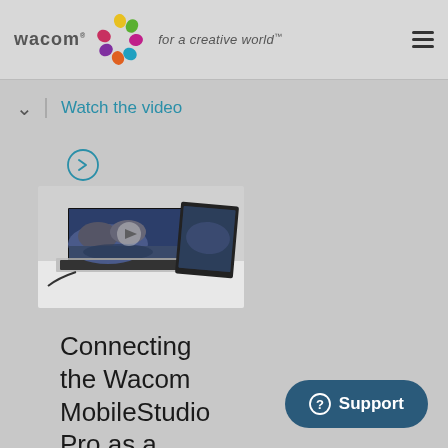wacom for a creative world™
Watch the video
[Figure (photo): Two devices — a laptop and a Wacom tablet — side by side on a white surface with landscape wallpaper displayed on their screens]
Connecting the Wacom MobileStudio Pro as a
Support